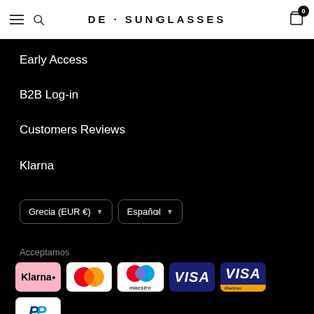DE · SUNGLASSES
Early Access
B2B Log-in
Customers Reviews
Klarna
Grecia (EUR €)  Español
Acceptamos
[Figure (logo): Payment method logos: Klarna, Mastercard, Maestro, Visa, Visa Electron, PayPal]